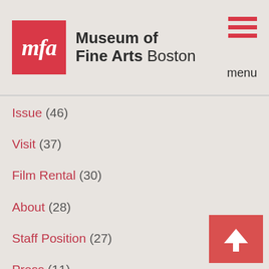Museum of Fine Arts Boston
Issue (46)
Visit (37)
Film Rental (30)
About (28)
Staff Position (27)
Press (11)
Beyond the Gallery (8)
Traveling Exhibition (8)
Employment (7)
Hardcover (3)
Product (1)